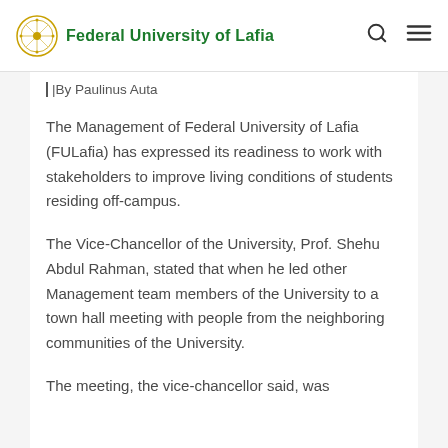Federal University of Lafia
|By Paulinus Auta
The Management of Federal University of Lafia (FULafia) has expressed its readiness to work with stakeholders to improve living conditions of students residing off-campus.
The Vice-Chancellor of the University, Prof. Shehu Abdul Rahman, stated that when he led other Management team members of the University to a town hall meeting with people from the neighboring communities of the University.
The meeting, the vice-chancellor said, was